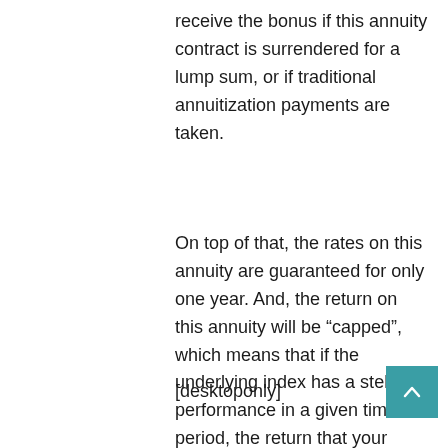receive the bonus if this annuity contract is surrendered for a lump sum, or if traditional annuitization payments are taken.
On top of that, the rates on this annuity are guaranteed for only one year. And, the return on this annuity will be “capped”, which means that if the underlying index has a stellar performance in a given time period, the return that your annuity receives will only be a portion of that amount.
[desktoponly]